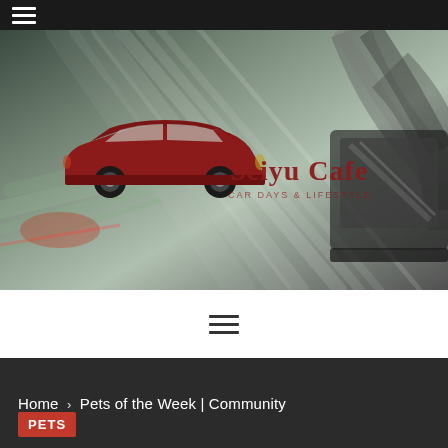≡ (hamburger menu)
[Figure (illustration): Hero banner showing a speeding car scene with motion blur light trails and a close-up of a side mirror. Overlaid with a red car silhouette icon and 'Seiyu Cafe' text logo in dark red/crimson serif font with subtitle text below.]
[Figure (other): Hamburger menu icon (three horizontal lines) on white background]
Home > Pets of the Week | Community
PETS